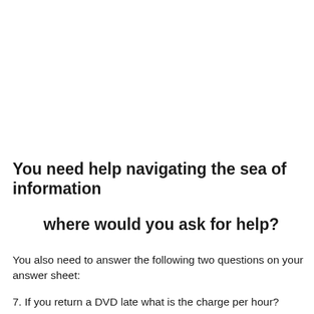You need help navigating the sea of information where would you ask for help?
You also need to answer the following two questions on your answer sheet:
7. If you return a DVD late what is the charge per hour?